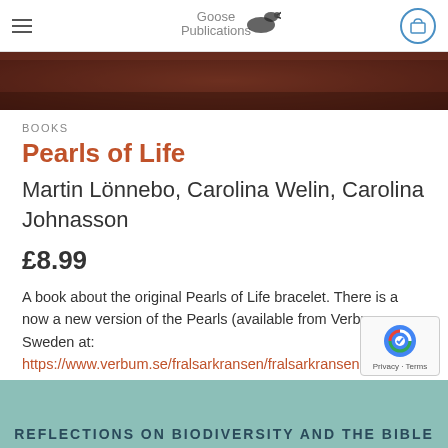Goose Publications
[Figure (photo): Dark brown/reddish textured hero image background]
BOOKS
Pearls of Life
Martin Lönnebo, Carolina Welin, Carolina Johnasson
£8.99
A book about the original Pearls of Life bracelet. There is a now a new version of the Pearls (available from Verbum Sweden at: https://www.verbum.se/fralsarkransen/fralsarkransen-av-glas-p52634417 ) where one of the beads is a different colour, but most of this book is still relevant.
[Figure (screenshot): Teal/green banner at the bottom with text REFLECTIONS ON BIODIVERSITY AND THE BIBLE]
REFLECTIONS ON BIODIVERSITY AND THE BIBLE